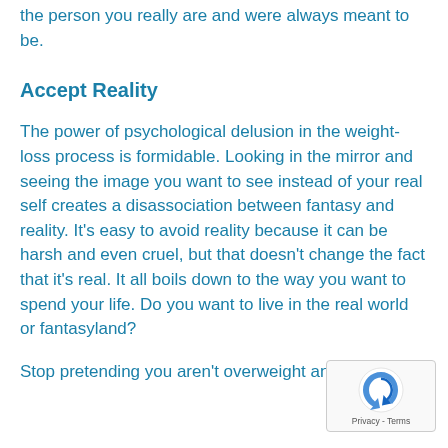the person you really are and were always meant to be.
Accept Reality
The power of psychological delusion in the weight-loss process is formidable. Looking in the mirror and seeing the image you want to see instead of your real self creates a disassociation between fantasy and reality. It's easy to avoid reality because it can be harsh and even cruel, but that doesn't change the fact that it's real. It all boils down to the way you want to spend your life. Do you want to live in the real world or fantasyland?
Stop pretending you aren't overweight and that h